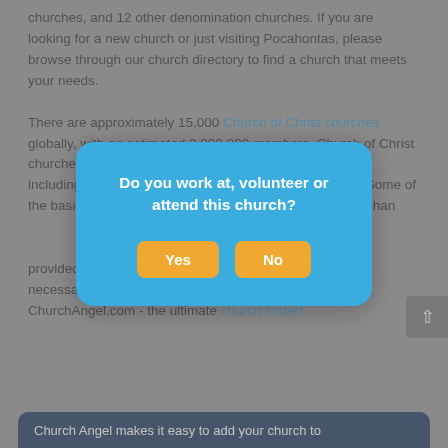churches, and 12 other denomination churches. If you are looking for a new church or just visiting Pocahontas, please browse through our church directory to find a church that meets your needs.

There are approximately 15,000 Church of Christ churches globally, with an estimated 2,000,000 members. Church of Christ churches are known for their distinctive style of worship, including a cappella singing, and baptism by immersion. Some of the basic beliefs of the Church of Christ are that the Bible is the inspired, unchanging Word of God, that God desires for all mankind to spend eternity in Heaven, that God loves all mankind and He has provided the directions and requirements of obedience necessary in His Holy Scriptures. Thanks for using ChurchAngel.com - the ultimate church finder!
[Figure (screenshot): A modal dialog box with blue background asking 'Do you work at, volunteer or attend this church?' with two buttons: 'Yes' and 'No' in orange/yellow color.]
Church Angel makes it easy to add your church to...